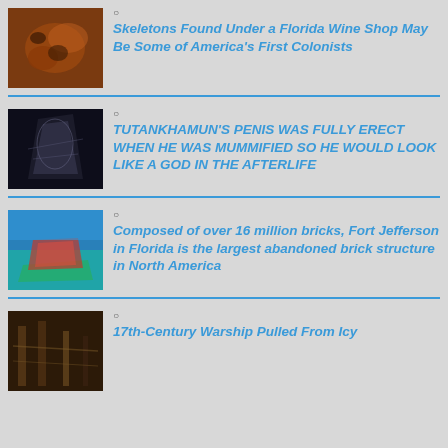[Figure (photo): Close-up of rusted/corroded brown artifact]
Skeletons Found Under a Florida Wine Shop May Be Some of America's First Colonists
[Figure (photo): X-ray or scan image of mummy in dark background]
TUTANKHAMUN'S PENIS WAS FULLY ERECT WHEN HE WAS MUMMIFIED SO HE WOULD LOOK LIKE A GOD IN THE AFTERLIFE
[Figure (photo): Aerial view of Fort Jefferson in Florida surrounded by turquoise water]
Composed of over 16 million bricks, Fort Jefferson in Florida is the largest abandoned brick structure in North America
[Figure (photo): Dark underwater or cave image showing wooden ship timbers]
17th-Century Warship Pulled From Icy